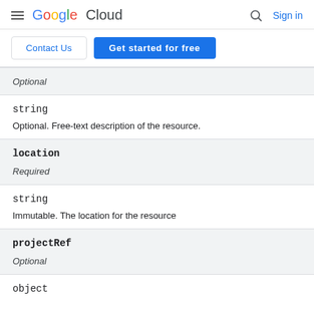Google Cloud — Sign in
Contact Us | Get started for free
Optional
string
Optional. Free-text description of the resource.
location
Required
string
Immutable. The location for the resource
projectRef
Optional
object